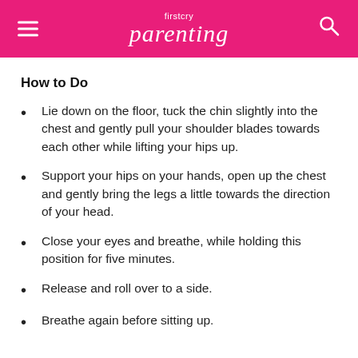firstcry parenting
How to Do
Lie down on the floor, tuck the chin slightly into the chest and gently pull your shoulder blades towards each other while lifting your hips up.
Support your hips on your hands, open up the chest and gently bring the legs a little towards the direction of your head.
Close your eyes and breathe, while holding this position for five minutes.
Release and roll over to a side.
Breathe again before sitting up.